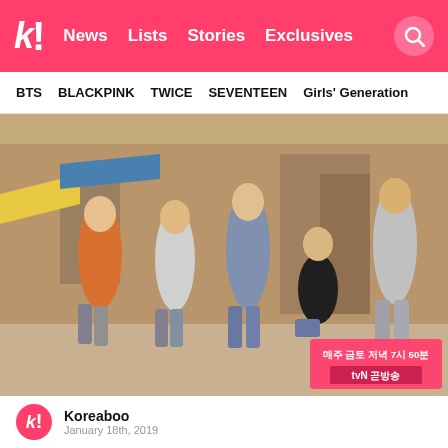k! News Lists Stories Exclusives
BTS  BLACKPINK  TWICE  SEVENTEEN  Girls' Generation
[Figure (photo): Group promotional photo for a Korean drama, featuring 5 cast members posed in an alleyway market street setting. A Korean text overlay reads '매주 금토 저녁 7시 50분 tvN 곧방송' (Every Friday-Saturday evening 7:50, broadcasting on tvN soon).]
Koreaboo